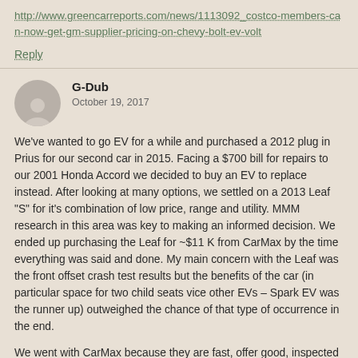http://www.greencarreports.com/news/1113092_costco-members-can-now-get-gm-supplier-pricing-on-chevy-bolt-ev-volt
Reply
G-Dub
October 19, 2017
We've wanted to go EV for a while and purchased a 2012 plug in Prius for our second car in 2015. Facing a $700 bill for repairs to our 2001 Honda Accord we decided to buy an EV to replace instead. After looking at many options, we settled on a 2013 Leaf "S" for it's combination of low price, range and utility. MMM research in this area was key to making an informed decision. We ended up purchasing the Leaf for ~$11 K from CarMax by the time everything was said and done. My main concern with the Leaf was the front offset crash test results but the benefits of the car (in particular space for two child seats vice other EVs – Spark EV was the runner up) outweighed the chance of that type of occurrence in the end.
We went with CarMax because they are fast, offer good, inspected cars, make research easy online, have a huge